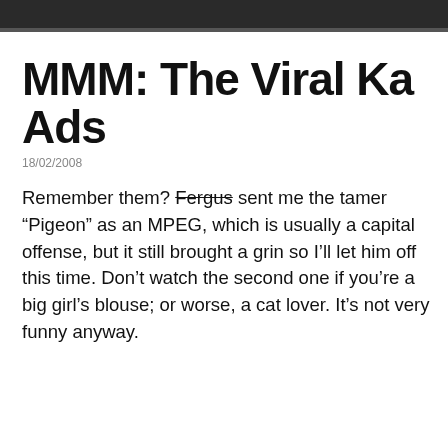[Figure (photo): Dark image bar at the top of the page, cropped bottom edge of an image]
MMM: The Viral Ka Ads
18/02/2008
Remember them? Fergus sent me the tamer “Pigeon” as an MPEG, which is usually a capital offense, but it still brought a grin so I’ll let him off this time. Don’t watch the second one if you’re a big girl’s blouse; or worse, a cat lover. It’s not very funny anyway.